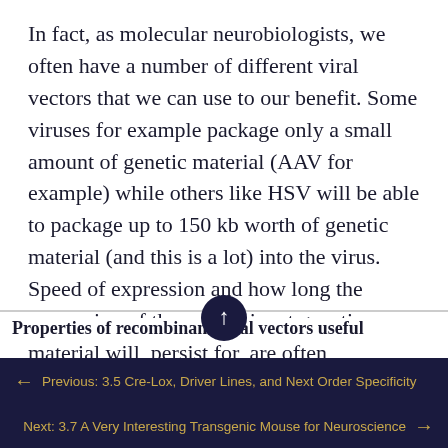In fact, as molecular neurobiologists, we often have a number of different viral vectors that we can use to our benefit. Some viruses for example package only a small amount of genetic material (AAV for example) while others like HSV will be able to package up to 150 kb worth of genetic material (and this is a lot) into the virus. Speed of expression and how long the expression of the recombinant genetic material will  persist for, are often considerations on the choice of viral vector (see Table 1).
Properties of recombinant viral vectors useful
← Previous: 3.5 Cre-Lox, Driver Lines, and Next Order Specificity
Next: 3.7 A Very Interesting Transgenic Mouse for Neuroscience →